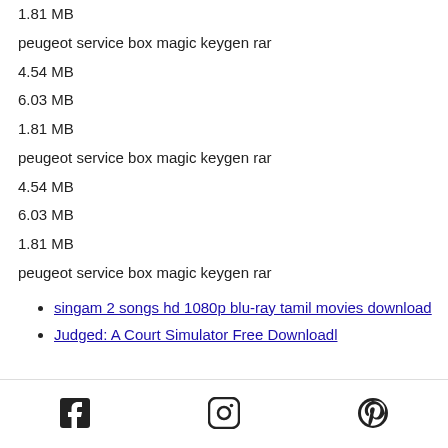1.81 MB
peugeot service box magic keygen rar
4.54 MB
6.03 MB
1.81 MB
peugeot service box magic keygen rar
4.54 MB
6.03 MB
1.81 MB
peugeot service box magic keygen rar
singam 2 songs hd 1080p blu-ray tamil movies download
Judged: A Court Simulator Free Downloadl
social icons: facebook, instagram, pinterest